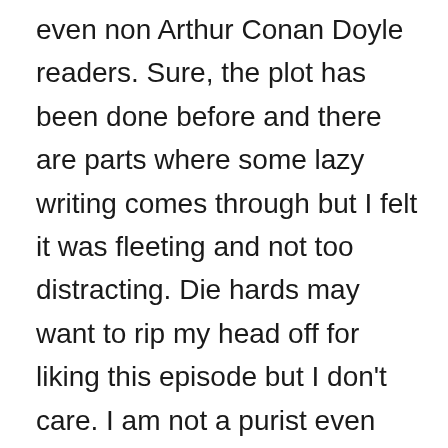even non Arthur Conan Doyle readers. Sure, the plot has been done before and there are parts where some lazy writing comes through but I felt it was fleeting and not too distracting. Die hards may want to rip my head off for liking this episode but I don't care. I am not a purist even though I have liked many cinematic interpretations of Sherlock Holmes down the years. From Basil Rathbone to even Richard Roxburgh (his version of Holmes in Hound of the Baskervilles was amazing). I have been guilty of even starting several Holmes novels and never completing them but I have finished some.